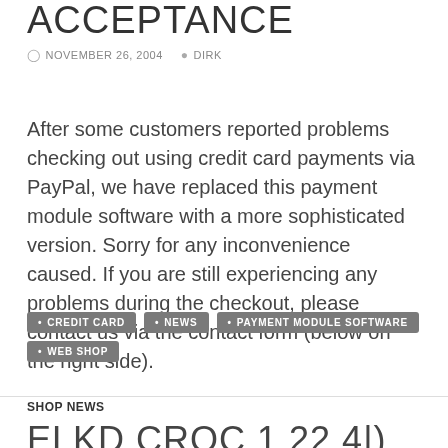ACCEPTANCE
NOVEMBER 26, 2004   DIRK
After some customers reported problems checking out using credit card payments via PayPal, we have replaced this payment module software with a more sophisticated version. Sorry for any inconvenience caused. If you are still experiencing any problems during the checkout, please contact us via the contact form (below on the right side).
CREDIT CARD
NEWS
PAYMENT MODULE SOFTWARE
WEB SHOP
SHOP NEWS